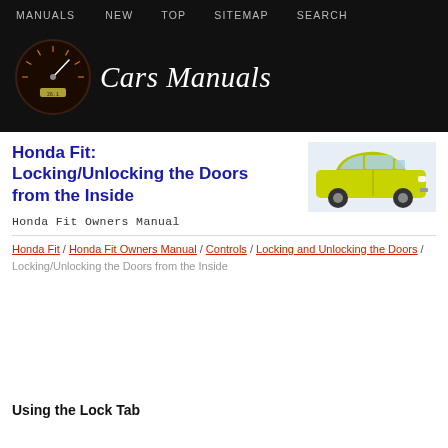MANUALS  NEW  TOP  SITEMAP  SEARCH
[Figure (logo): Cars Manuals website logo with speedometer icon and italic white text 'Cars Manuals' on black background]
Honda Fit: Locking/Unlocking the Doors from the Inside
[Figure (photo): Yellow Honda Fit compact car photographed from front-left angle]
Honda Fit Owners Manual
Honda Fit / Honda Fit Owners Manual / Controls / Locking and Unlocking the Doors / Locking/Unlocking the Doors from the Inside
Using the Lock Tab